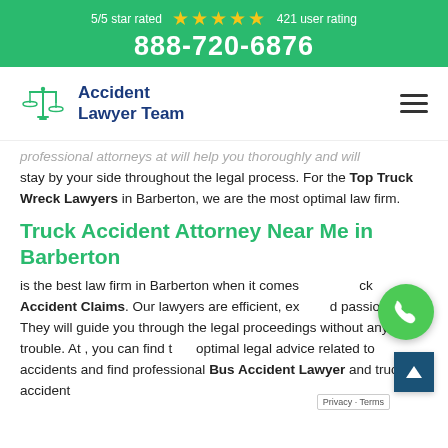5/5 star rated ★★★★★ 421 user rating
888-720-6876
[Figure (logo): Accident Lawyer Team logo with scales of justice icon]
professional attorneys at will help you thoroughly and will stay by your side throughout the legal process. For the Top Truck Wreck Lawyers in Barberton, we are the most optimal law firm.
Truck Accident Attorney Near Me in Barberton
is the best law firm in Barberton when it comes to Truck Accident Claims. Our lawyers are efficient, experienced and passionate. They will guide you through the legal proceedings without any trouble. At , you can find the optimal legal advice related to accidents and find professional Bus Accident Lawyer and truck accident